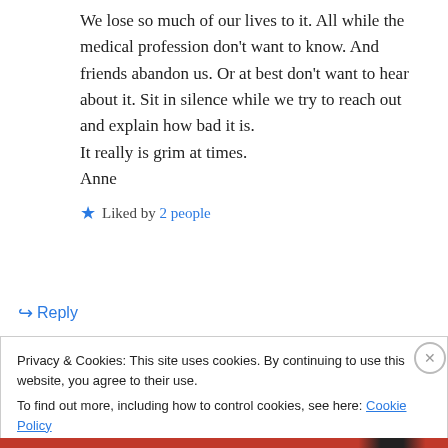We lose so much of our lives to it. All while the medical profession don't want to know. And friends abandon us. Or at best don't want to hear about it. Sit in silence while we try to reach out and explain how bad it is.
It really is grim at times.
Anne
★ Liked by 2 people
↵ Reply
Privacy & Cookies: This site uses cookies. By continuing to use this website, you agree to their use.
To find out more, including how to control cookies, see here: Cookie Policy
Close and accept